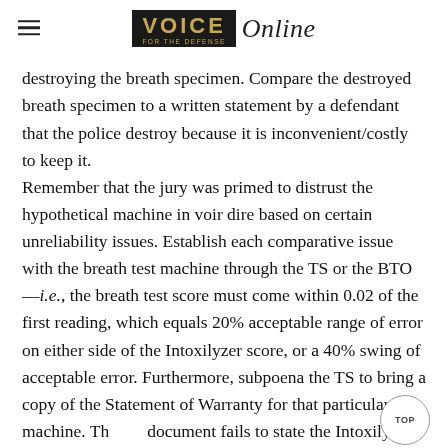VOICE FOR THE DEFENSE Online
destroying the breath specimen. Compare the destroyed breath specimen to a written statement by a defendant that the police destroy because it is inconvenient/costly to keep it.
Remember that the jury was primed to distrust the hypothetical machine in voir dire based on certain unreliability issues. Establish each comparative issue with the breath test machine through the TS or the BTO—i.e., the breath test score must come within 0.02 of the first reading, which equals 20% acceptable range of error on either side of the Intoxilyzer score, or a 40% swing of acceptable error. Furthermore, subpoena the TS to bring a copy of the Statement of Warranty for that particular machine. This document fails to state the Intoxilyzer is warranted for merchantability or fitness for a particular purpose. As a